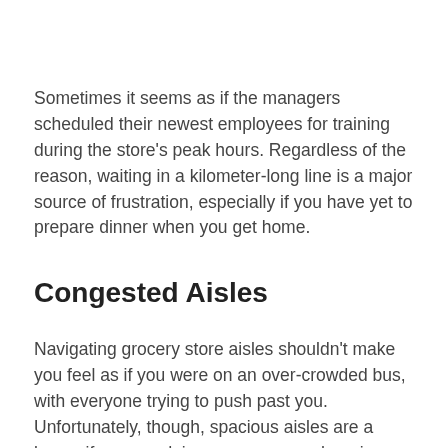Sometimes it seems as if the managers scheduled their newest employees for training during the store's peak hours. Regardless of the reason, waiting in a kilometer-long line is a major source of frustration, especially if you have yet to prepare dinner when you get home.
Congested Aisles
Navigating grocery store aisles shouldn't make you feel as if you were on an over-crowded bus, with everyone trying to push past you. Unfortunately, though, spacious aisles are a luxury if you are doing your grocery shopping outside